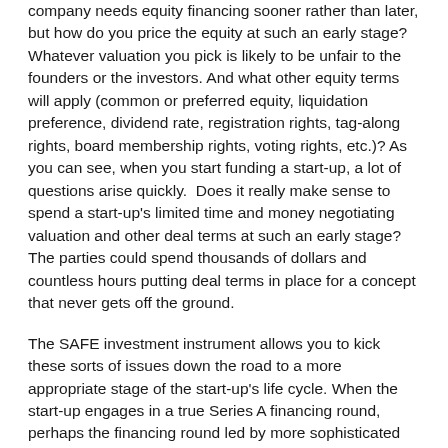company needs equity financing sooner rather than later, but how do you price the equity at such an early stage? Whatever valuation you pick is likely to be unfair to the founders or the investors. And what other equity terms will apply (common or preferred equity, liquidation preference, dividend rate, registration rights, tag-along rights, board membership rights, voting rights, etc.)? As you can see, when you start funding a start-up, a lot of questions arise quickly.  Does it really make sense to spend a start-up's limited time and money negotiating valuation and other deal terms at such an early stage? The parties could spend thousands of dollars and countless hours putting deal terms in place for a concept that never gets off the ground.
The SAFE investment instrument allows you to kick these sorts of issues down the road to a more appropriate stage of the start-up's life cycle. When the start-up engages in a true Series A financing round, perhaps the financing round led by more sophisticated professional investors, such as a venture capital firm. Often the Series A investor is better able to take on the task of valuing the company and structuring the terms of the Series A investment. And perhaps the company has a